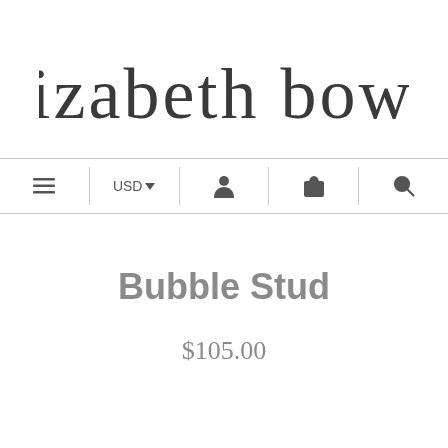[Figure (logo): Elizabeth Bower script logo in cursive handwriting style]
≡  USD ▾  [account icon]  [cart icon]  [search icon]
Bubble Stud
$105.00